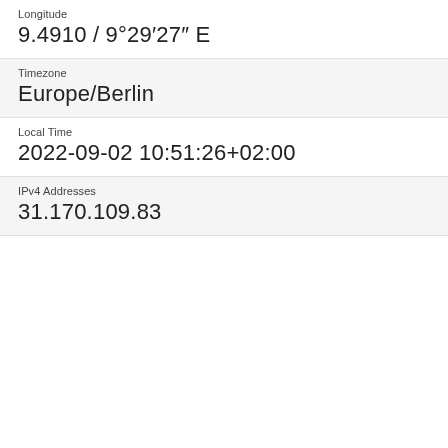Longitude
9.4910 / 9°29′27″ E
Timezone
Europe/Berlin
Local Time
2022-09-02 10:51:26+02:00
IPv4 Addresses
31.170.109.83